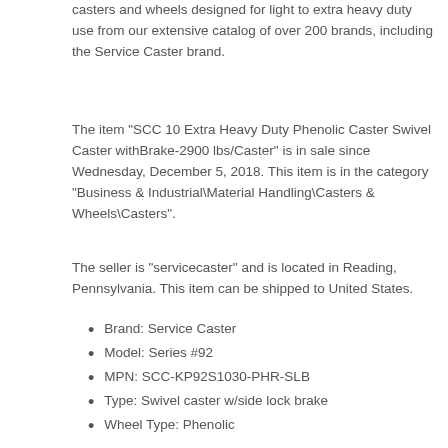casters and wheels designed for light to extra heavy duty use from our extensive catalog of over 200 brands, including the Service Caster brand.
The item "SCC 10 Extra Heavy Duty Phenolic Caster Swivel Caster withBrake-2900 lbs/Caster" is in sale since Wednesday, December 5, 2018. This item is in the category "Business & Industrial\Material Handling\Casters & Wheels\Casters".
The seller is "servicecaster" and is located in Reading, Pennsylvania. This item can be shipped to United States.
Brand: Service Caster
Model: Series #92
MPN: SCC-KP92S1030-PHR-SLB
Type: Swivel caster w/side lock brake
Wheel Type: Phenolic
Capacity: 2900
Color: Swivel - Side Lock Brake - Black
Wheel Diameter: 10